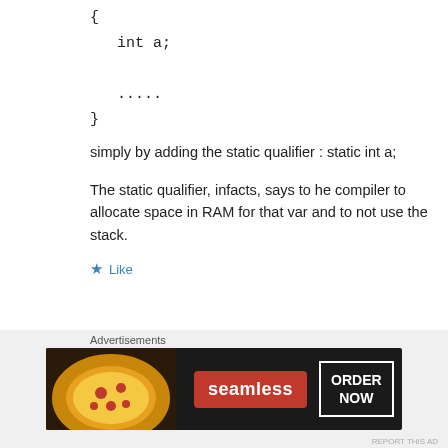{
int a;

.....
}
simply by adding the static qualifier : static int a;
The static qualifier, infacts, says to he compiler to allocate space in RAM for that var and to not use the stack.
Like
Reply
Advertisements
[Figure (screenshot): Seamless food delivery advertisement banner with pizza image, red Seamless logo, and ORDER NOW button on dark background]